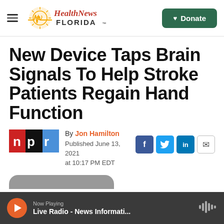Health News Florida — Donate
New Device Taps Brain Signals To Help Stroke Patients Regain Hand Function
By Jon Hamilton
Published June 13, 2021 at 10:17 PM EDT
Now Playing — Live Radio - News Informati...